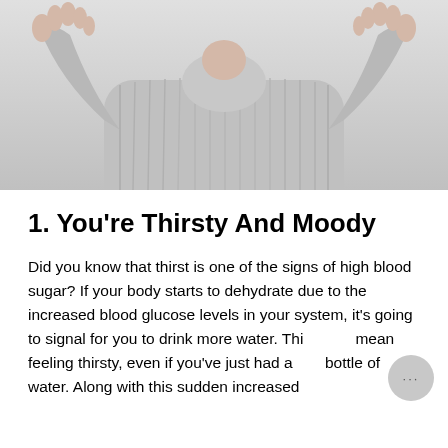[Figure (photo): A person wearing a light grey ribbed sweater with hands raised near their face/head, photographed against a light grey background. Only the torso and hands are visible, head is cropped out.]
1. You're Thirsty And Moody
Did you know that thirst is one of the signs of high blood sugar? If your body starts to dehydrate due to the increased blood glucose levels in your system, it's going to signal for you to drink more water. This can mean feeling thirsty, even if you've just had a full bottle of water. Along with this sudden increased